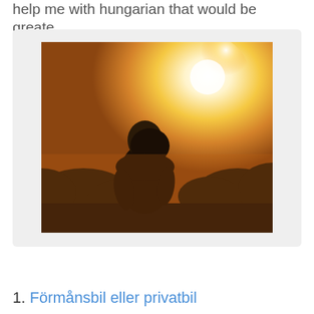help me with hungarian that would be greate.
[Figure (photo): A person seen from behind, silhouetted against a bright golden sunset in an outdoor setting with trees in the background.]
1. Förmånsbil eller privatbil